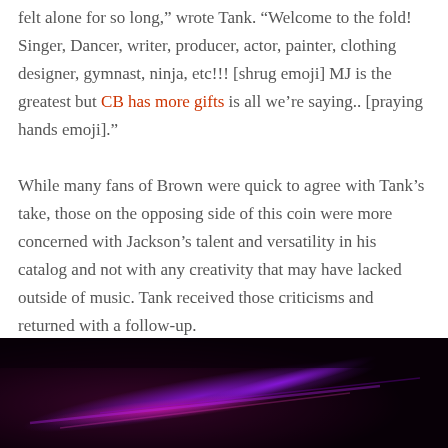felt alone for so long," wrote Tank. “Welcome to the fold! Singer, Dancer, writer, producer, actor, painter, clothing designer, gymnast, ninja, etc!!! [shrug emoji] MJ is the greatest but CB has more gifts is all we're saying.. [praying hands emoji]."
While many fans of Brown were quick to agree with Tank’s take, those on the opposing side of this coin were more concerned with Jackson’s talent and versatility in his catalog and not with any creativity that may have lacked outside of music. Tank received those criticisms and returned with a follow-up.
[Figure (photo): Dark abstract background with purple and magenta light streaks on a near-black surface]